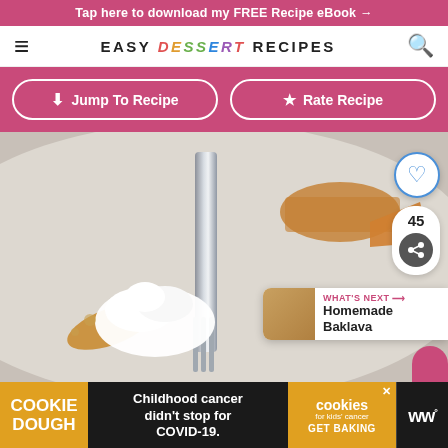Tap here to download my FREE Recipe eBook →
EASY dessert RECIPES
↓ Jump To Recipe
★ Rate Recipe
[Figure (photo): Close-up photo of a fork cutting into a slice of pumpkin pie with whipped cream topping, with decorative pie crust leaves and a pumpkin pie in the background]
45
WHAT'S NEXT → Homemade Baklava
COOKIE DOUGH Childhood cancer didn't stop for COVID-19. cookies for kids' cancer GET BAKING